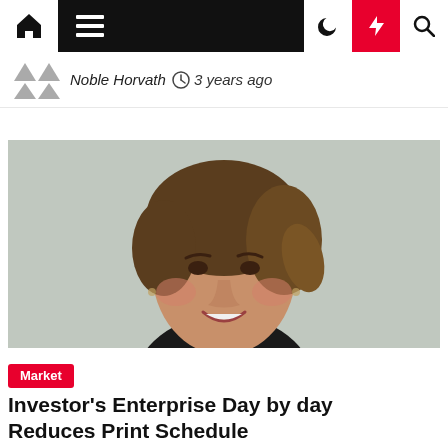Navigation bar with home, menu, moon, bolt, and search icons
Noble Horvath  3 years ago
[Figure (photo): Headshot of a smiling middle-aged woman with short brown hair wearing a black turtleneck, photographed against a light gray background]
Market
Investor's Enterprise Day by day Reduces Print Schedule